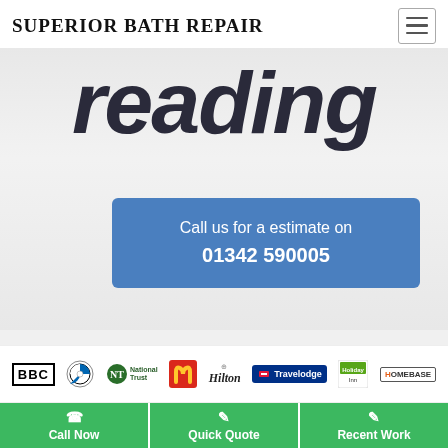SUPERIOR BATH REPAIR
reading
Call us for a estimate on 01342 590005
[Figure (logo): Client logos strip: BBC, BMW, National Trust, McDonald's, Hilton, Travelodge, Holiday Inn, Homebase]
Call Now
Quick Quote
Recent Work